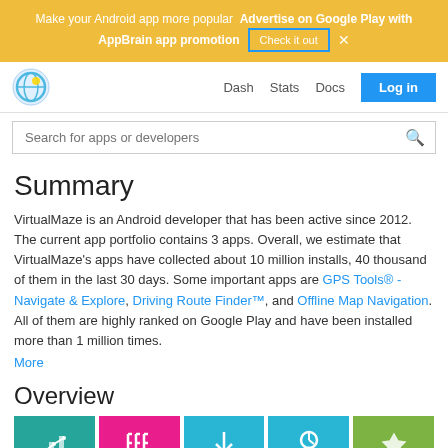Make your Android app more popular  Advertise on Google Play with AppBrain app promotion  Check it out  ×
Dash  Stats  Docs  Log in
Search for apps or developers
Summary
VirtualMaze is an Android developer that has been active since 2012. The current app portfolio contains 3 apps. Overall, we estimate that VirtualMaze's apps have collected about 10 million installs, 40 thousand of them in the last 30 days. Some important apps are GPS Tools® -Navigate & Explore, Driving Route Finder™, and Offline Map Navigation. All of them are highly ranked on Google Play and have been installed more than 1 million times.
More
Overview
[Figure (other): Row of 5 colored app icon tiles at the bottom of the page]